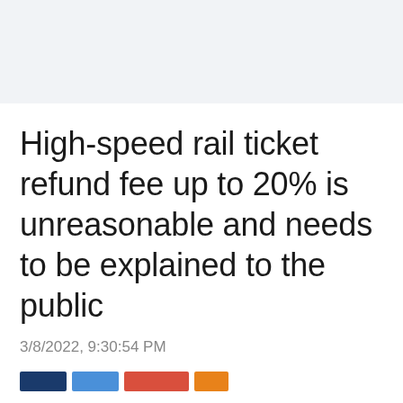High-speed rail ticket refund fee up to 20% is unreasonable and needs to be explained to the public
3/8/2022, 9:30:54 PM